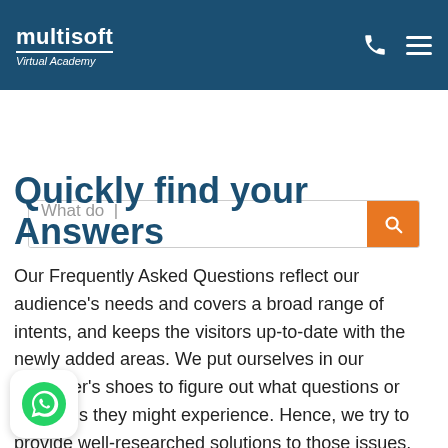multisoft Virtual Academy
[Figure (screenshot): Search bar with placeholder text 'What do |' and orange search button]
Quickly find your Answers
Our Frequently Asked Questions reflect our audience's needs and covers a broad range of intents, and keeps the visitors up-to-date with the newly added areas. We put ourselves in our customer's shoes to figure out what questions or problems they might experience. Hence, we try to provide well-researched solutions to those issues. We precisely focus on the question and answer with the exact information. This page gives internal page views and showcases our expertise in the
[Figure (logo): WhatsApp floating button with green WhatsApp icon]